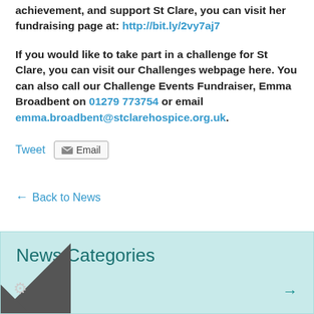achievement, and support St Clare, you can visit her fundraising page at: http://bit.ly/2vy7aj7
If you would like to take part in a challenge for St Clare, you can visit our Challenges webpage here. You can also call our Challenge Events Fundraiser, Emma Broadbent on 01279 773754 or email emma.broadbent@stclarehospice.org.uk.
Tweet  Email
← Back to News
News Categories